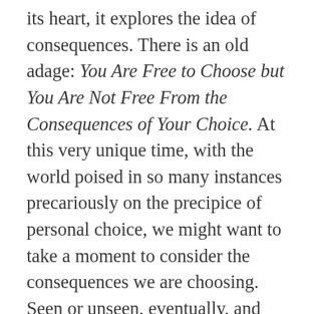its heart, it explores the idea of consequences. There is an old adage: You Are Free to Choose but You Are Not Free From the Consequences of Your Choice. At this very unique time, with the world poised in so many instances precariously on the precipice of personal choice, we might want to take a moment to consider the consequences we are choosing. Seen or unseen, eventually, and without fail, they always come around. Food for thought. I hope you enjoy “The Soul Shredder,” and do have a Happy Halloween.